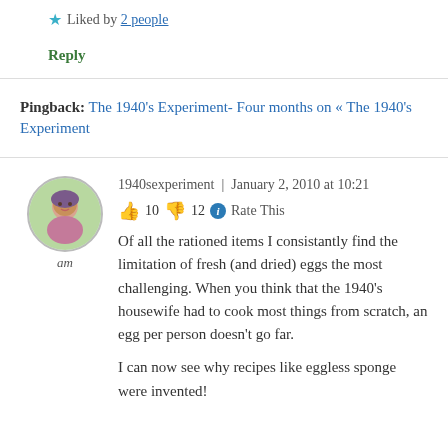★ Liked by 2 people
Reply
Pingback: The 1940's Experiment- Four months on « The 1940's Experiment
1940sexperiment  |  January 2, 2010 at 10:21
👍 10  👎 12  ℹ Rate This
Of all the rationed items I consistantly find the limitation of fresh (and dried) eggs the most challenging. When you think that the 1940's housewife had to cook most things from scratch, an egg per person doesn't go far.

I can now see why recipes like eggless sponge were invented!